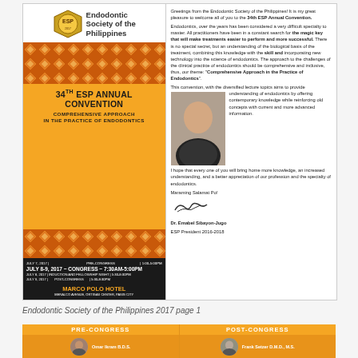[Figure (infographic): 34th ESP Annual Convention promotional page with logo, decorative pattern, schedule info on dark background, and photo of Dr. Emabel Sibayon-Jugo]
Greetings from the Endodontic Society of the Philippines! It is my great pleasure to welcome all of you to the 34th ESP Annual Convention. Endodontics, over the years has been considered a very difficult specialty to master. All practitioners have been in a constant search for the magic key that will make treatments easier to perform and more successful. There is no special secret, but an understanding of the biological basis of the treatment, combining this knowledge with the skill and incorporating new technology into the science of endodontics. The approach to the challenges of the clinical practice of endodontics should be comprehensive and inclusive, thus, our theme: 'Comprehensive Approach in the Practice of Endodontics'. This convention, with the diversified lecture topics aims to provide understanding of endodontics by offering contemporary knowledge while reinforcing old concepts with current and more advanced information. I hope that every one of you will bring home more knowledge, an increased understanding, and a better appreciation of our profession and the specialty of endodontics. Maraming Salamat Po! Dr. Emabel Sibayon-Jugo ESP President 2016-2018
Endodontic Society of the Philippines 2017 page 1
[Figure (infographic): Bottom section showing PRE-CONGRESS and POST-CONGRESS panels with speaker photos and names: Omar Ikram B.D.S. and Frank Setzer D.M.D., M.S.]